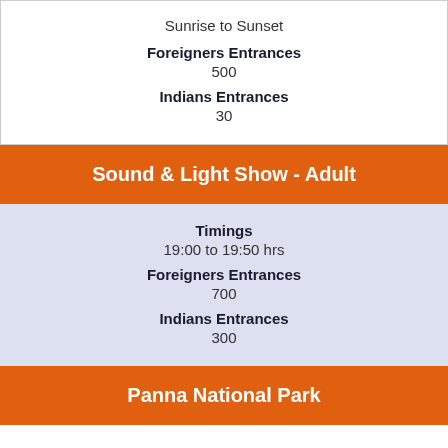Sunrise to Sunset
Foreigners Entrances
500
Indians Entrances
30
Sound & Light Show - Adult
Timings
19:00 to 19:50 hrs
Foreigners Entrances
700
Indians Entrances
300
Panna National Park